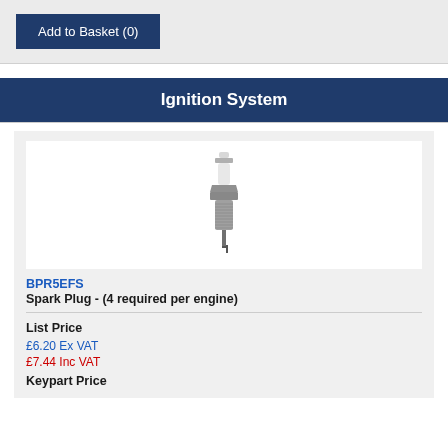Add to Basket (0)
Ignition System
[Figure (photo): Spark plug product image on white background]
BPR5EFS
Spark Plug - (4 required per engine)
List Price
£6.20 Ex VAT
£7.44 Inc VAT
Keypart Price